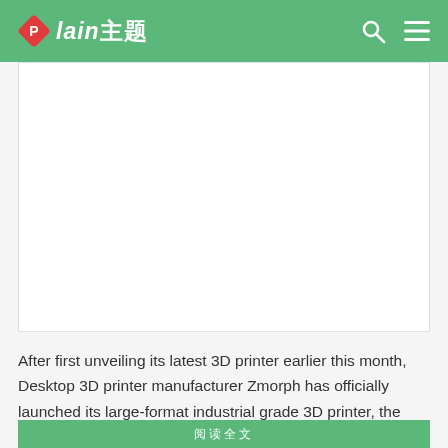Plain主题
[Figure (photo): Large white blank/empty image placeholder area below the navigation header]
After&nbsp;first unveiling its latest 3D printer&nbsp;earlier this month, Desktop 3D printer manufacturer&nbsp;Zmorph&nbsp;has officially launched its large-format industrial grade 3D printer, the Zmorph i500.Zmorph&nbsp;...
阅读全文